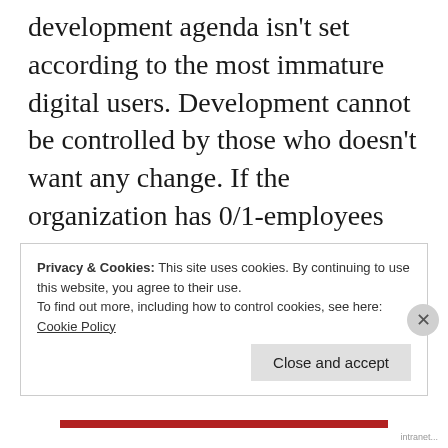development agenda isn't set according to the most immature digital users. Development cannot be controlled by those who doesn't want any change. If the organization has 0/1-employees the solution isn't lowering the quality of the digital workplace. Because then the organization will never get a good intranet.
Privacy & Cookies: This site uses cookies. By continuing to use this website, you agree to their use.
To find out more, including how to control cookies, see here:
Cookie Policy
Close and accept